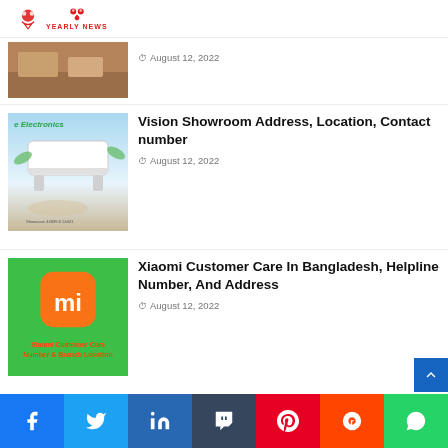YEARLY NEWS
[Figure (photo): Partial article thumbnail - brown/wood background]
August 12, 2022
[Figure (photo): Vision Electronics air conditioner unit on light blue background]
Vision Showroom Address, Location, Contact number
August 12, 2022
[Figure (photo): Xiaomi Customer Care Number & Branch Location - green background with MI orange logo]
Xiaomi Customer Care In Bangladesh, Helpline Number, And Address
August 12, 2022
Fruits & Vegetables
Meat & Fish (Beef, Mutton, Chicken, Birds, Fresh Water Fish, Sea Fish, Egg)